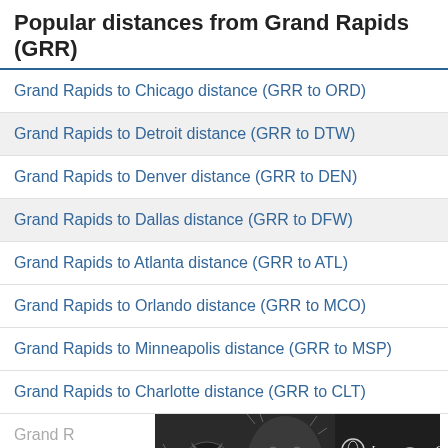Popular distances from Grand Rapids (GRR)
Grand Rapids to Chicago distance (GRR to ORD)
Grand Rapids to Detroit distance (GRR to DTW)
Grand Rapids to Denver distance (GRR to DEN)
Grand Rapids to Dallas distance (GRR to DFW)
Grand Rapids to Atlanta distance (GRR to ATL)
Grand Rapids to Orlando distance (GRR to MCO)
Grand Rapids to Minneapolis distance (GRR to MSP)
Grand Rapids to Charlotte distance (GRR to CLT)
Grand R[obscured by ad]
Grand R[obscured by ad]
[Figure (illustration): Advertisement overlay showing a pencil-sketch illustration of an owl and a bearded man's face with Jurga Creations branding and a 'See More Art' button]
Grand Rapids to Nashville distance (GRR to BNA)